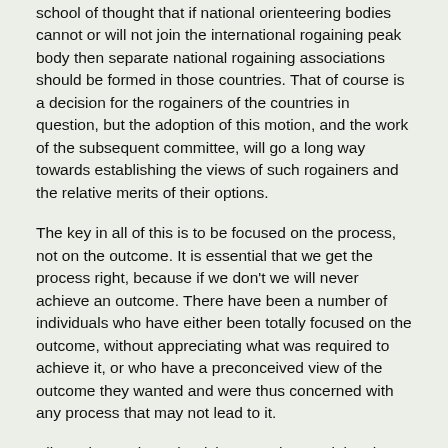school of thought that if national orienteering bodies cannot or will not join the international rogaining peak body then separate national rogaining associations should be formed in those countries. That of course is a decision for the rogainers of the countries in question, but the adoption of this motion, and the work of the subsequent committee, will go a long way towards establishing the views of such rogainers and the relative merits of their options.
The key in all of this is to be focused on the process, not on the outcome. It is essential that we get the process right, because if we don't we will never achieve an outcome. There have been a number of individuals who have either been totally focused on the outcome, without appreciating what was required to achieve it, or who have a preconceived view of the outcome they wanted and were thus concerned with any process that may not lead to it.
All rogainers who truly wish to see the rogaining they know effectively internationalized need to be focused on the process and support of this motion will ensure that we have in place a process that will lead to that effective internationalization.
Richard Robinson
Australian Rogaining Association
10 June 2000